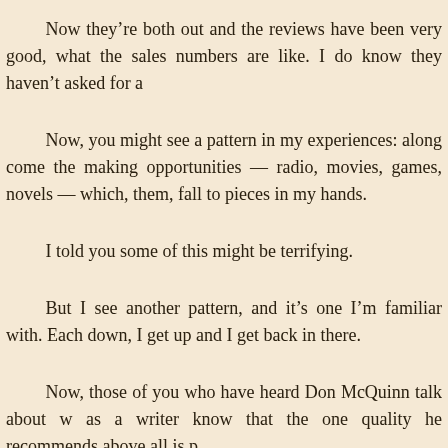Now they’re both out and the reviews have been very good, what the sales numbers are like. I do know they haven’t asked for a
Now, you might see a pattern in my experiences: along come the making opportunities — radio, movies, games, novels — which, them, fall to pieces in my hands.
I told you some of this might be terrifying.
But I see another pattern, and it’s one I’m familiar with. Each down, I get up and I get back in there.
Now, those of you who have heard Don McQuinn talk about w as a writer know that the one quality he recommends above all is p
Well I’m here to confirm that recommendation. You’ve got to ke